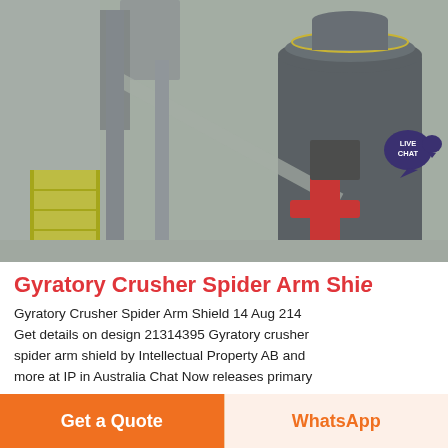[Figure (photo): Industrial gyratory crusher equipment in a factory/plant setting. A large cylindrical crusher unit is visible with red mechanical arm components. Steel structures, pipes and ducting are visible in the background.]
Gyratory Crusher Spider Arm Shie
Gyratory Crusher Spider Arm Shield 14 Aug 214 Get details on design 21314395 Gyratory crusher spider arm shield by Intellectual Property AB and more at IP in Australia Chat Now releases primary